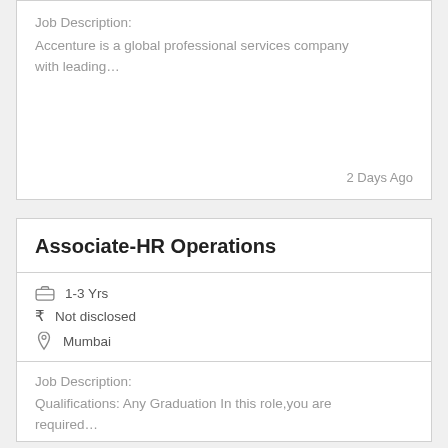Job Description:
Accenture is a global professional services company with leading…
2 Days Ago
Associate-HR Operations
1-3 Yrs
Not disclosed
Mumbai
Job Description:
Qualifications: Any Graduation In this role,you are required…